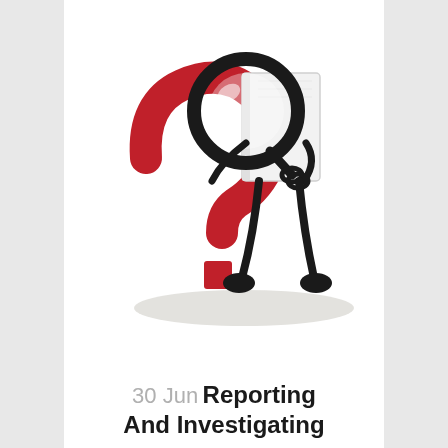[Figure (illustration): A 3D white book character with black wire arms and legs holding a large magnifying glass, standing next to a large red question mark symbol on a white background with subtle shadow.]
30 Jun Reporting And Investigating